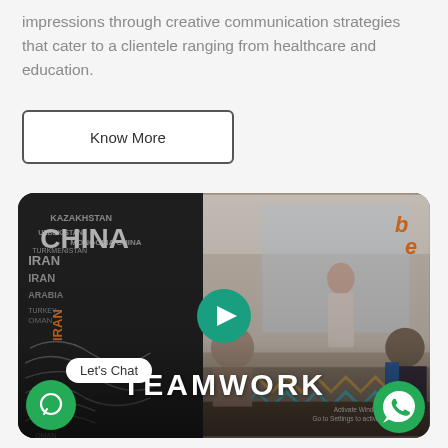impressions through creative communication strategies that cater to a clientele ranging from healthcare and education.
Know More
[Figure (photo): A video thumbnail showing an office meeting scene with a woman presenting to colleagues. The background has a world map made of country name typography. Text overlay reads TEAMWORK with a green play button in the center. A 'Let's Chat' bubble and WhatsApp icons are overlaid on the bottom corners.]